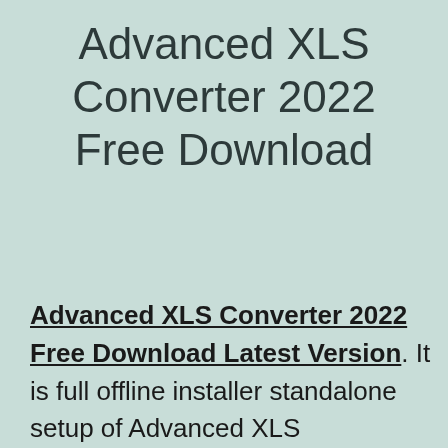Advanced XLS Converter 2022 Free Download
Advanced XLS Converter 2022 Free Download Latest Version. It is full offline installer standalone setup of Advanced XLS